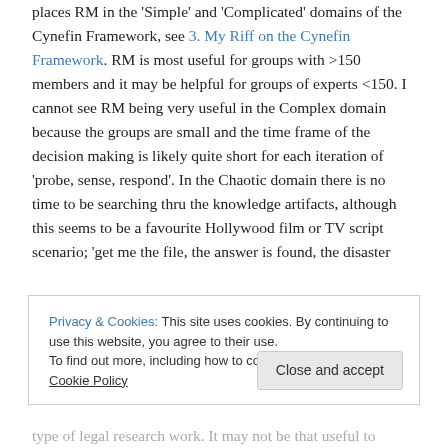places RM in the 'Simple' and 'Complicated' domains of the Cynefin Framework, see 3. My Riff on the Cynefin Framework. RM is most useful for groups with >150 members and it may be helpful for groups of experts <150. I cannot see RM being very useful in the Complex domain because the groups are small and the time frame of the decision making is likely quite short for each iteration of 'probe, sense, respond'. In the Chaotic domain there is no time to be searching thru the knowledge artifacts, although this seems to be a favourite Hollywood film or TV script scenario; 'get me the file, the answer is found, the disaster
Privacy & Cookies: This site uses cookies. By continuing to use this website, you agree to their use. To find out more, including how to control cookies, see here: Cookie Policy
type of legal research work. It may not be that useful to